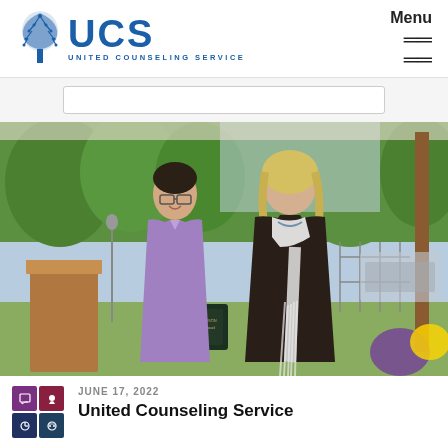UCS - United Counseling Service | Menu
[Figure (photo): Two people posing outdoors under a tent at an event. A man in a purple/lavender shirt holding a plaque stands next to a woman in a dark top with a white beaded scarf. Green trees and a fence are visible in the background. A podium is to the left.]
JUNE 17, 2022
United Counseling Service